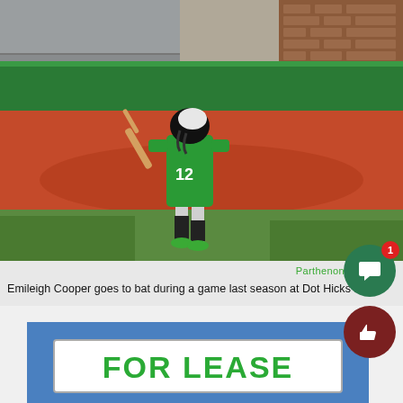[Figure (photo): Softball player Emileigh Cooper wearing green jersey number 12, in batting stance at home plate at Dot Hicks Field. Background shows green outfield wall, dirt infield, and stadium structure.]
Parthenon File Photo
Emileigh Cooper goes to bat during a game last season at Dot Hicks Field.
[Figure (photo): Partial view of a sign reading FOR LEASE in large green letters on white background, against a blue sky.]